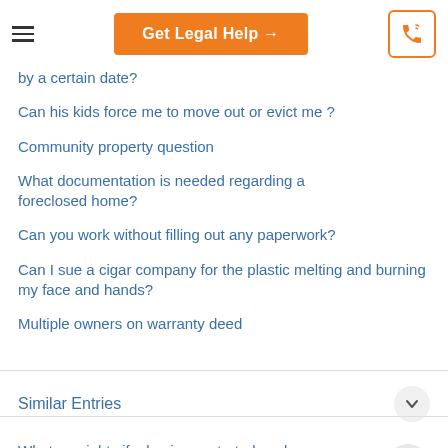Get Legal Help →
by a certain date?
Can his kids force me to move out or evict me ?
Community property question
What documentation is needed regarding a foreclosed home?
Can you work without filling out any paperwork?
Can I sue a cigar company for the plastic melting and burning my face and hands?
Multiple owners on warranty deed
Similar Entries
What my rights if a business started work on my house without a contract?